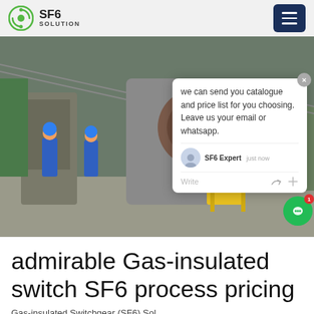SF6 SOLUTION
[Figure (photo): Industrial photo showing workers in blue overalls and helmets working on large gas-insulated switchgear equipment at an outdoor substation. A chat popup overlay is visible with text: 'we can send you catalogue and price list for you choosing. Leave us your email or whatsapp.' SF6 Expert just now. Write.]
admirable Gas-insulated switch SF6 process pricing
Gas-insulated Switchgear (SF6) Sol...